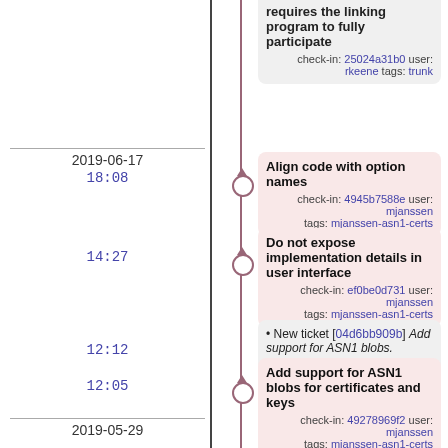requires the linking program to fully participate
check-in: 25024a31b0 user: rkeene tags: trunk
2019-06-17
18:08
Align code with option names
check-in: 4945b7588e user: mjanssen tags: mjanssen-asn1-certs
14:27
Do not expose implementation details in user interface
check-in: ef0be0d731 user: mjanssen tags: mjanssen-asn1-certs
12:12
• New ticket [04d6bb909b] Add support for ASN1 blobs.
artifact: 1ac67041cd user: anonymous
12:05
Add support for ASN1 blobs for certificates and keys
check-in: 49278969f2 user: mjanssen tags: mjanssen-asn1-certs
2019-05-29